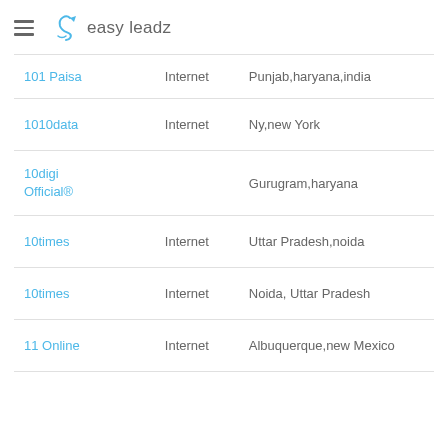easy leadz
| 101 Paisa | Internet | Punjab,haryana,india |
| 1010data | Internet | Ny,new York |
| 10digi Official® |  | Gurugram,haryana |
| 10times | Internet | Uttar Pradesh,noida |
| 10times | Internet | Noida, Uttar Pradesh |
| 11 Online | Internet | Albuquerque,new Mexico |